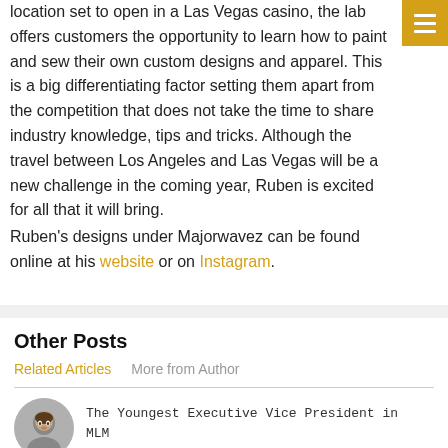location set to open in a Las Vegas casino, the lab offers customers the opportunity to learn how to paint and sew their own custom designs and apparel. This is a big differentiating factor setting them apart from the competition that does not take the time to share industry knowledge, tips and tricks. Although the travel between Los Angeles and Las Vegas will be a new challenge in the coming year, Ruben is excited for all that it will bring.
Ruben's designs under Majorwavez can be found online at his website or on Instagram.
Other Posts
Related Articles   More from Author
The Youngest Executive Vice President in MLM